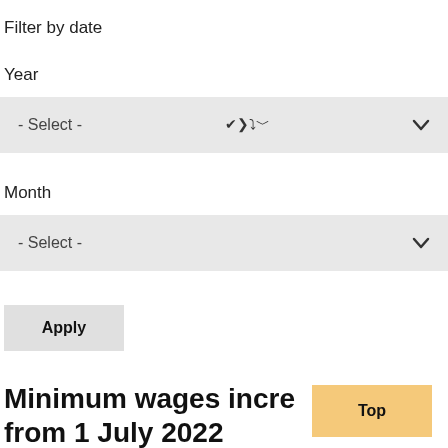Filter by date
Year
- Select -
Month
- Select -
Apply
Minimum wages incre from 1 July 2022
Top